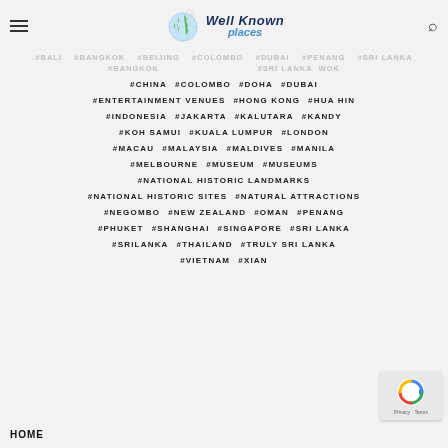Well Known places
#CHINA #COLOMBO #DOHA #DUBAI
#ENTERTAINMENT VENUES #HONG KONG #HUA HIN
#INDONESIA #JAKARTA #KALUTARA #KANDY
#KOH SAMUI #KUALA LUMPUR #LONDON
#MACAU #MALAYSIA #MALDIVES #MANILA
#MELBOURNE #MUSEUM #MUSEUMS
#NATIONAL HISTORIC LANDMARKS
#NATIONAL HISTORIC SITES #NATURAL ATTRACTIONS
#NEGOMBO #NEW ZEALAND #OMAN #PENANG
#PHUKET #SHANGHAI #SINGAPORE #SRI LANKA
#SRILANKA #THAILAND #TRULY SRI LANKA
#VIETNAM #XIAN
HOME